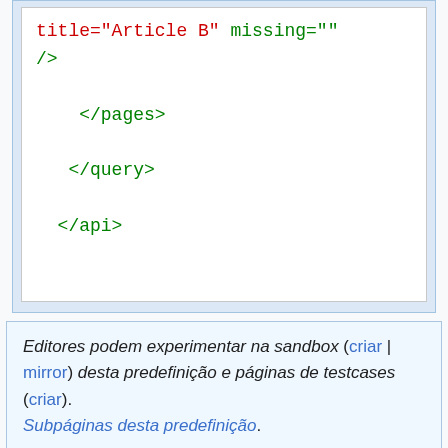[Figure (screenshot): Code block showing XML snippet with title="Article B" missing="", />, </pages>, </query>, </api> in green monospace on white background inside a light blue container]
Editores podem experimentar na sandbox (criar | mirror) desta predefinição e páginas de testcases (criar). Subpáginas desta predefinição.
Last edited 9 months ago by FuzzyBot
MediaWiki